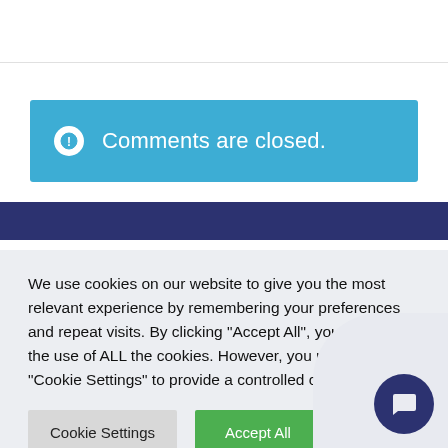Comments are closed.
We use cookies on our website to give you the most relevant experience by remembering your preferences and repeat visits. By clicking "Accept All", you consent to the use of ALL the cookies. However, you may visit "Cookie Settings" to provide a controlled consent.
Cookie Settings
Accept All